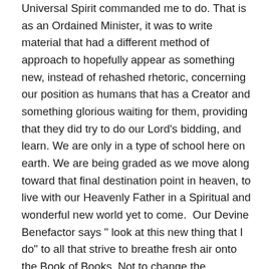Universal Spirit commanded me to do. That is as an Ordained Minister, it was to write material that had a different method of approach to hopefully appear as something new, instead of rehashed rhetoric, concerning our position as humans that has a Creator and something glorious waiting for them, providing that they did try to do our Lord’s bidding, and learn. We are only in a type of school here on earth. We are being graded as we move along toward that final destination point in heaven, to live with our Heavenly Father in a Spiritual and wonderful new world yet to come.  Our Devine Benefactor says “ look at this new thing that I do” to all that strive to breathe fresh air onto the Book of Books. Not to change the message but to bring fresh air to how we spin our words in teachings in today’s world. The old will appear as new and gain more interest to the new blood amongst our young people and old people alike. A new day will come. Trust